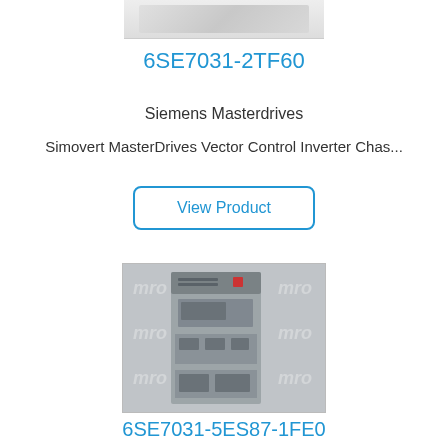[Figure (photo): Partial product image at top of page, cropped]
6SE7031-2TF60
Siemens Masterdrives
Simovert MasterDrives Vector Control Inverter Chas...
View Product
[Figure (photo): Photo of Siemens Masterdrive inverter unit (gray chassis) with MRO watermark background]
6SE7031-5ES87-1FE0